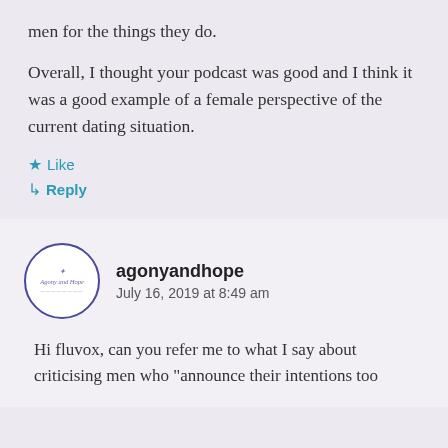men for the things they do.
Overall, I thought your podcast was good and I think it was a good example of a female perspective of the current dating situation.
★ Like
↳ Reply
agonyandhope
July 16, 2019 at 8:49 am
Hi fluvox, can you refer me to what I say about criticising men who "announce their intentions too